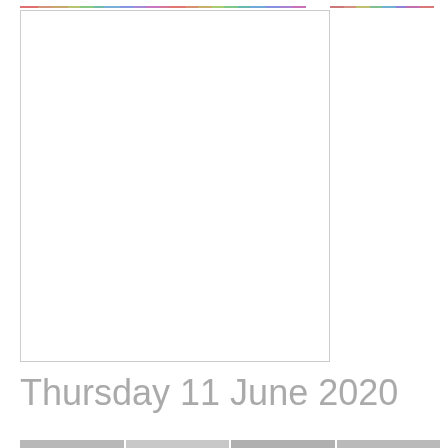[Figure (photo): Colorful banner strip at the top of the page, spanning roughly two-thirds of the page width, with multicolored segments in pastel tones (red, blue, pink, green, etc.). A second partial strip continues to the right edge.]
[Figure (photo): Large white/blank rectangular image placeholder occupying most of the left-center area of the page, bordered by a thin light gray line.]
Thursday 11 June 2020